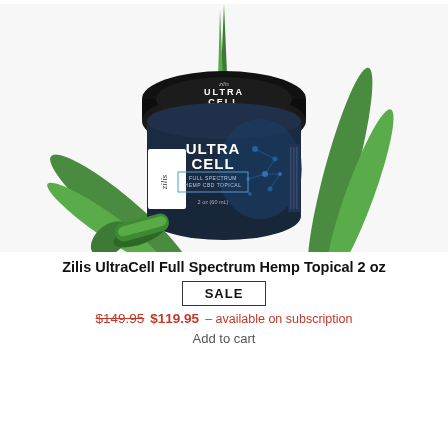[Figure (photo): Product photo of Zilis UltraCell Full Spectrum Hemp CBD Topical 2oz jar (dark navy/black jar with blue molecular design and white text) with aloe vera leaves in background, on white background]
Zilis UltraCell Full Spectrum Hemp Topical 2 oz
SALE
$149.95 $119.95 – available on subscription
Add to cart